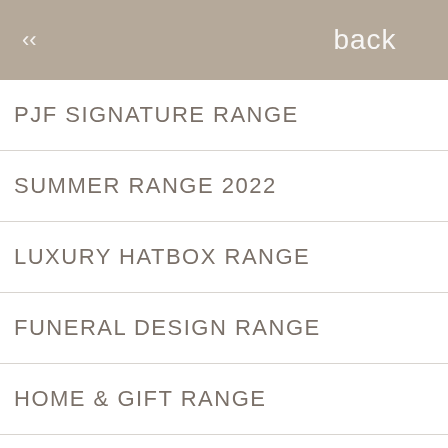back
PJF SIGNATURE RANGE
SUMMER RANGE 2022
LUXURY HATBOX RANGE
FUNERAL DESIGN RANGE
HOME & GIFT RANGE
FINISHING TOUCHES
NEW BABY RANGE
THINKING OF YOU RANGE
lp us to maintain special offers and available. Such and on our nd up to date. Once owers you can by visiting our you can amend any de a regular email ails of monthly information on new ce please submit your .